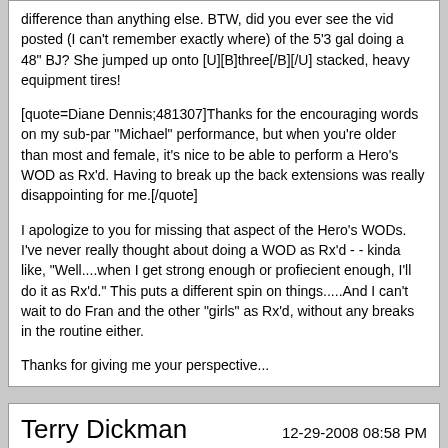difference than anything else. BTW, did you ever see the vid posted (I can't remember exactly where) of the 5'3 gal doing a 48" BJ? She jumped up onto [U][B]three[/B][/U] stacked, heavy equipment tires!
[quote=Diane Dennis;481307]Thanks for the encouraging words on my sub-par "Michael" performance, but when you're older than most and female, it's nice to be able to perform a Hero's WOD as Rx'd. Having to break up the back extensions was really disappointing for me.[/quote]
I apologize to you for missing that aspect of the Hero's WODs. I've never really thought about doing a WOD as Rx'd - - kinda like, "Well....when I get strong enough or profiecient enough, I'll do it as Rx'd." This puts a different spin on things.....And I can't wait to do Fran and the other "girls" as Rx'd, without any breaks in the routine either.
Thanks for giving me your perspective...
Terry Dickman
12-29-2008 08:58 PM
Re: Over 50 Crossfitters Sign In
Warm Up
400 meter run
3 rounds of ;
10 push ups
10 back ext.
10 over head squats
10 ball slams